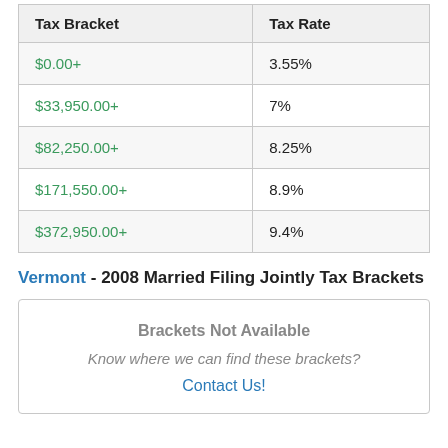| Tax Bracket | Tax Rate |
| --- | --- |
| $0.00+ | 3.55% |
| $33,950.00+ | 7% |
| $82,250.00+ | 8.25% |
| $171,550.00+ | 8.9% |
| $372,950.00+ | 9.4% |
Vermont - 2008 Married Filing Jointly Tax Brackets
Brackets Not Available
Know where we can find these brackets?
Contact Us!